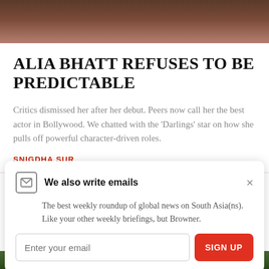[Figure (photo): Top portion of a photo of a person wearing a red top, cropped to show shoulders and below chin area]
ALIA BHATT REFUSES TO BE PREDICTABLE
Critics dismissed her after her debut. Peers now call her the best actor in Bollywood. We chatted with the 'Darlings' star on how she pulls off powerful character-driven roles.
SNIGDHA SUR
We also write emails
The best weekly roundup of global news on South Asia(ns). Like your other weekly briefings, but Browner.
[Figure (photo): Bottom portion of a photo showing green foliage/plants]